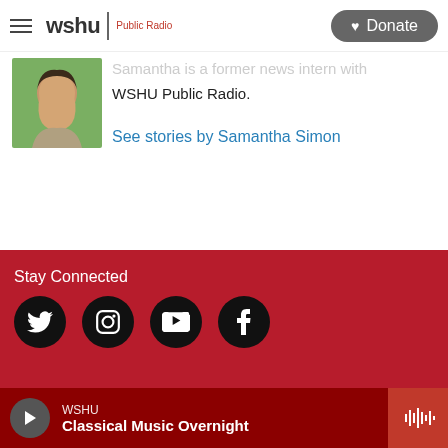wshu | Public Radio  Donate
[Figure (photo): Profile photo of Samantha Simon outdoors with green foliage background]
Samantha is a former news intern with WSHU Public Radio.
See stories by Samantha Simon
Stay Connected
[Figure (infographic): Social media icons: Twitter, Instagram, YouTube, Facebook — black circles on red background]
WSHU Classical Music Overnight